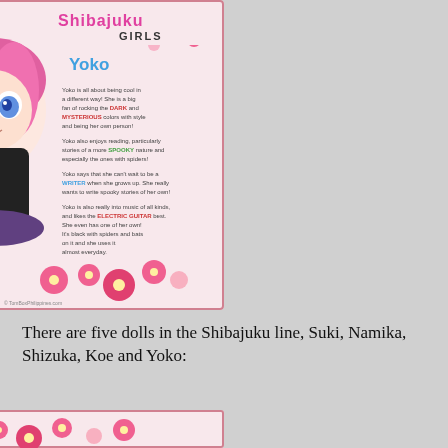[Figure (photo): Photo of a Shibajuku Girls 'Yoko' doll packaging insert. The doll has pink and purple hair, big blue eyes, and wears a black outfit. The card shows the 'Shibajuku Girls' logo at top, the name 'Yoko' in blue, and descriptive text about the character. Pink flowers decorate the border. Copyright TomBoxPhilippines.com.]
There are five dolls in the Shibajuku line, Suki, Namika, Shizuka, Koe and Yoko:
[Figure (photo): Partial view of another Shibajuku Girls doll packaging card, showing the top portion with pink flower decorations.]